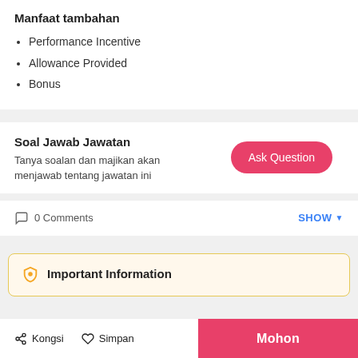Manfaat tambahan
Performance Incentive
Allowance Provided
Bonus
Soal Jawab Jawatan
Tanya soalan dan majikan akan menjawab tentang jawatan ini
Ask Question
0 Comments
SHOW
Important Information
Kongsi
Simpan
Mohon